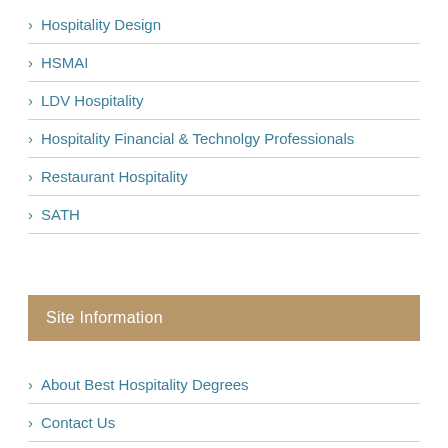Hospitality Design
HSMAI
LDV Hospitality
Hospitality Financial & Technolgy Professionals
Restaurant Hospitality
SATH
Site Information
About Best Hospitality Degrees
Contact Us